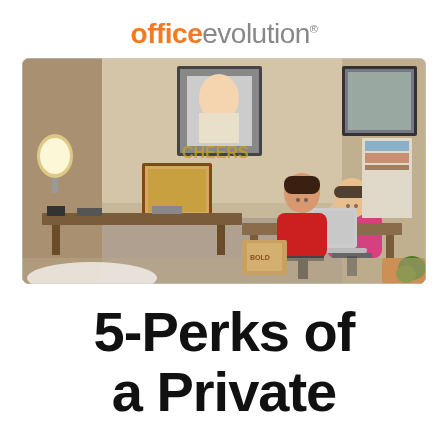office evolution
[Figure (photo): Two people working at separate desks in a shared private office space. A man on the left in a pink shirt is on the phone, and a woman on the right in a red top smiles at the camera while working on a laptop. The office has framed photos on the walls and decorative items.]
5-Perks of a Private